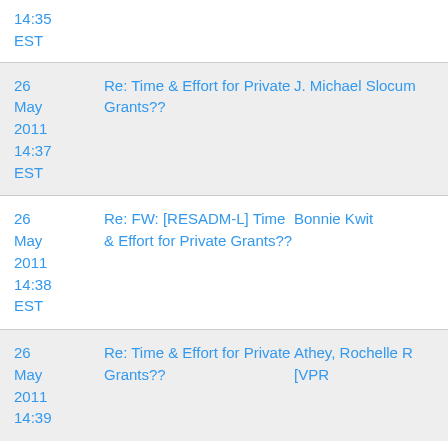| Date | Subject | Sender |
| --- | --- | --- |
| 26 May 2011 14:35 EST | (partial — top cut off) |  |
| 26 May 2011 14:37 EST | Re: Time & Effort for Private Grants?? | J. Michael Slocum |
| 26 May 2011 14:38 EST | Re: FW: [RESADM-L] Time & Effort for Private Grants?? | Bonnie Kwit |
| 26 May 2011 14:39 EST | Re: Time & Effort for Private Grants?? | Athey, Rochelle R [VPR |